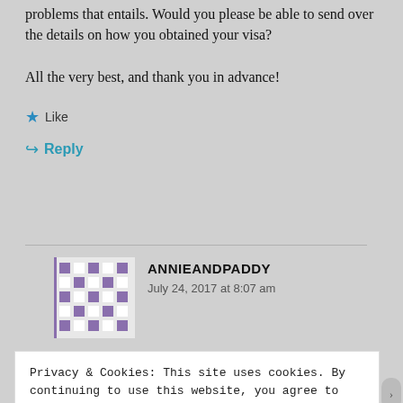problems that entails. Would you please be able to send over the details on how you obtained your visa?
All the very best, and thank you in advance!
★ Like
↪ Reply
ANNIEANDPADDY
July 24, 2017 at 8:07 am
Privacy & Cookies: This site uses cookies. By continuing to use this website, you agree to their use.
To find out more, including how to control cookies, see here: Cookie Policy
Close and accept